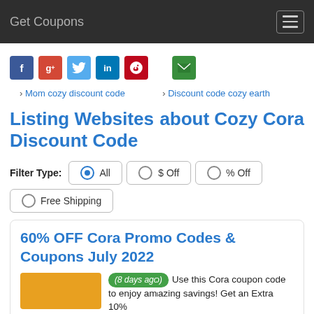Get Coupons
[Figure (infographic): Social media sharing icons: Facebook, Google+, Twitter, LinkedIn, Pinterest, and Email]
› Mom cozy discount code   › Discount code cozy earth
Listing Websites about Cozy Cora Discount Code
Filter Type: All  $ Off  % Off  Free Shipping
60% OFF Cora Promo Codes & Coupons July 2022
(8 days ago) Use this Cora coupon code to enjoy amazing savings! Get an Extra 10%...